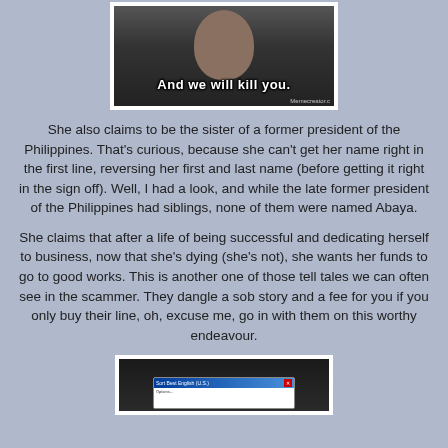[Figure (photo): A meme image showing a man with text 'And we will kill you.' with Memecreator.c watermark, white border, dark background]
She also claims to be the sister of a former president of the Philippines. That's curious, because she can't get her name right in the first line, reversing her first and last name (before getting it right in the sign off). Well, I had a look, and while the late former president of the Philippines had siblings, none of them were named Abaya.
She claims that after a life of being successful and dedicating herself to business, now that she's dying (she's not), she wants her funds to go to good works. This is another one of those tell tales we can often see in the scammer. They dangle a sob story and a fee for you if you only buy their line, oh, excuse me, go in with them on this worthy endeavour.
[Figure (screenshot): A screenshot showing a computer dialog/settings window with a dark background]